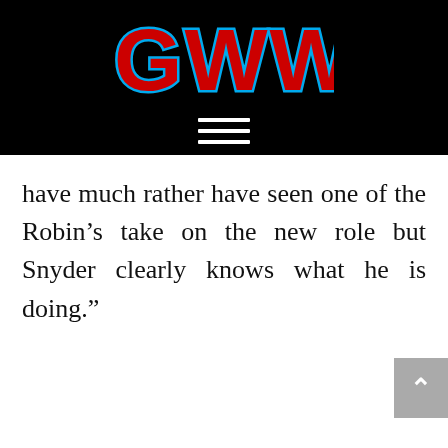[Figure (logo): GWW logo in red block letters with blue outline on black background, with hamburger menu icon below]
have much rather have seen one of the Robin’s take on the new role but Snyder clearly knows what he is doing.”